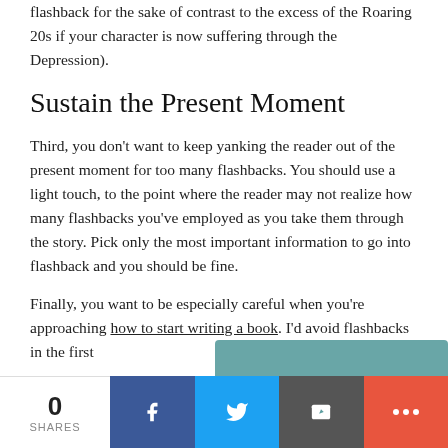flashback for the sake of contrast to the excess of the Roaring 20s if your character is now suffering through the Depression).
Sustain the Present Moment
Third, you don't want to keep yanking the reader out of the present moment for too many flashbacks. You should use a light touch, to the point where the reader may not realize how many flashbacks you've employed as you take them through the story. Pick only the most important information to go into flashback and you should be fine.
Finally, you want to be especially careful when you're approaching how to start writing a book. I'd avoid flashbacks in the first
0 SHARES